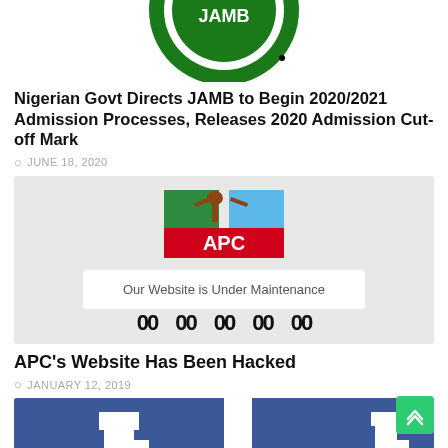[Figure (logo): JAMB (Joint Admissions and Matriculation Board) circular logo — green and white, partially cropped at top of page]
Nigerian Govt Directs JAMB to Begin 2020/2021 Admission Processes, Releases 2020 Admission Cut-off Mark
JUNE 18, 2020
[Figure (screenshot): APC (All Progressives Congress) website screenshot showing the APC logo and a maintenance page message: 'Our Website is Under Maintenance' with countdown timer zeros]
APC's Website Has Been Hacked
JANUARY 12, 2019
[Figure (screenshot): Facebook page or banner with blue background and a white 'f' Facebook logo icon, split across two panels with a white gap in between]